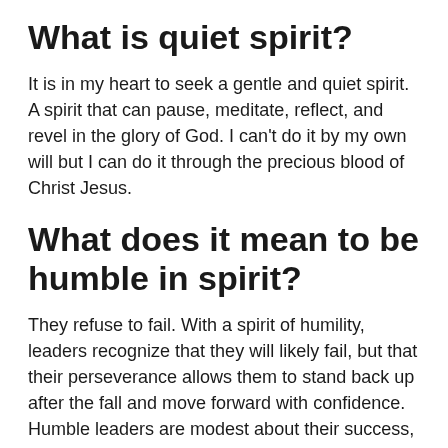What is quiet spirit?
It is in my heart to seek a gentle and quiet spirit. A spirit that can pause, meditate, reflect, and revel in the glory of God. I can’t do it by my own will but I can do it through the precious blood of Christ Jesus.
What does it mean to be humble in spirit?
They refuse to fail. With a spirit of humility, leaders recognize that they will likely fail, but that their perseverance allows them to stand back up after the fall and move forward with confidence. Humble leaders are modest about their success, and make it known to everyone that their failures don’t define